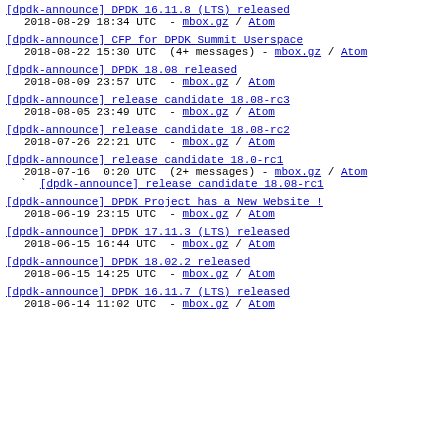[dpdk-announce] DPDK 16.11.8 (LTS) released
  2018-08-29 18:34 UTC  - mbox.gz / Atom
[dpdk-announce] CFP for DPDK Summit Userspace
  2018-08-22 15:30 UTC  (4+ messages) - mbox.gz / Atom
[dpdk-announce] DPDK 18.08 released
  2018-08-09 23:57 UTC  - mbox.gz / Atom
[dpdk-announce] release candidate 18.08-rc3
  2018-08-05 23:49 UTC  - mbox.gz / Atom
[dpdk-announce] release candidate 18.08-rc2
  2018-07-26 22:21 UTC  - mbox.gz / Atom
[dpdk-announce] release candidate 18.0-rc1
  2018-07-16  0:20 UTC  (2+ messages) - mbox.gz / Atom
` [dpdk-announce] release candidate 18.08-rc1
[dpdk-announce] DPDK Project has a New Website !
  2018-06-19 23:15 UTC  - mbox.gz / Atom
[dpdk-announce] DPDK 17.11.3 (LTS) released
  2018-06-15 16:44 UTC  - mbox.gz / Atom
[dpdk-announce] DPDK 18.02.2 released
  2018-06-15 14:25 UTC  - mbox.gz / Atom
[dpdk-announce] DPDK 16.11.7 (LTS) released
  2018-06-14 11:02 UTC  - mbox.gz / Atom